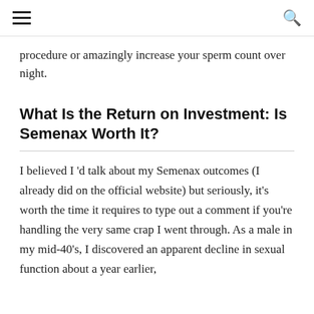≡  🔍
procedure or amazingly increase your sperm count over night.
What Is the Return on Investment: Is Semenax Worth It?
I believed I 'd talk about my Semenax outcomes (I already did on the official website) but seriously, it's worth the time it requires to type out a comment if you're handling the very same crap I went through. As a male in my mid-40's, I discovered an apparent decline in sexual function about a year earlier,